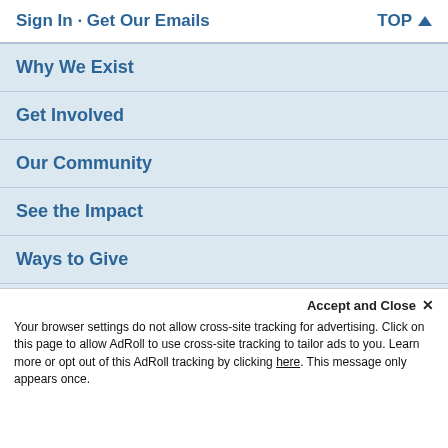Sign In · Get Our Emails  TOP ↑
Why We Exist
Get Involved
Our Community
See the Impact
Ways to Give
Blog
Shop · FAQs · Press Room · Careers · Contact Us
Accept and Close ✕
Your browser settings do not allow cross-site tracking for advertising. Click on this page to allow AdRoll to use cross-site tracking to tailor ads to you. Learn more or opt out of this AdRoll tracking by clicking here. This message only appears once.